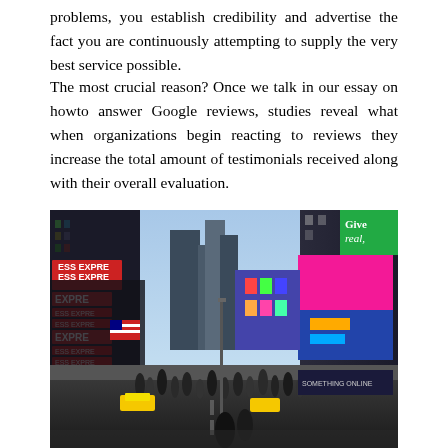problems, you establish credibility and advertise the fact you are continuously attempting to supply the very best service possible.
The most crucial reason? Once we talk in our essay on howto answer Google reviews, studies reveal what when organizations begin reacting to reviews they increase the total amount of testimonials received along with their overall evaluation.
[Figure (photo): A busy city street scene resembling Times Square in New York City, showing tall buildings covered in bright colorful billboards and advertisements, with crowds of people on the street and yellow taxis. Signs include 'EXPRE', 'Give real.' and others.]